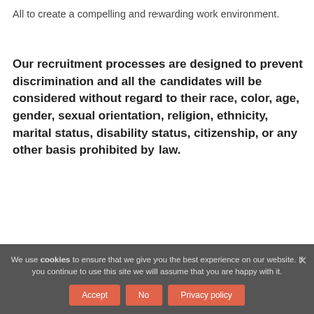All to create a compelling and rewarding work environment.
Our recruitment processes are designed to prevent discrimination and all the candidates will be considered without regard to their race, color, age, gender, sexual orientation, religion, ethnicity, marital status, disability status, citizenship, or any other basis prohibited by law.
We use cookies to ensure that we give you the best experience on our website. If you continue to use this site we will assume that you are happy with it.